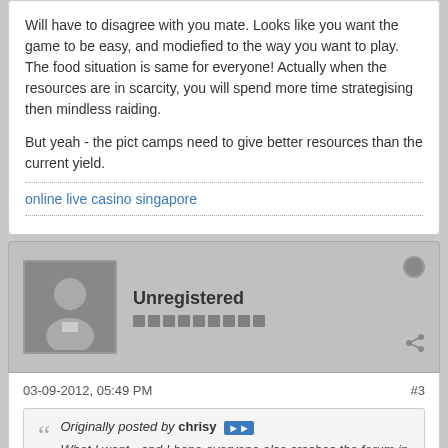Will have to disagree with you mate. Looks like you want the game to be easy, and modiefied to the way you want to play. The food situation is same for everyone! Actually when the resources are in scarcity, you will spend more time strategising then mindless raiding.

But yeah - the pict camps need to give better resources than the current yield.
online live casino singapore
Unregistered
03-09-2012, 05:49 PM
#3
Originally posted by chrisy
What I want - and I hope everyone else crashes the forum in support
1. Pict Camps that give 100k for per level - level one 100k,